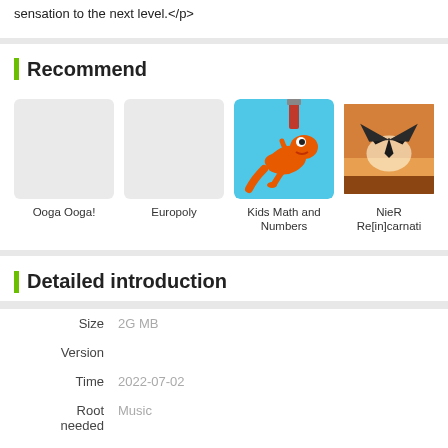sensation to the next level.</p>
Recommend
[Figure (screenshot): App recommendation row showing: Ooga Ooga! (grey placeholder), Europoly (grey placeholder), Kids Math and Numbers (orange cartoon character on blue background), NieR Re[in]carnati (dark winged creature)]
Detailed introduction
| Size | 2G MB |
| Version |  |
| Time | 2022-07-02 |
| Root needed | Music |